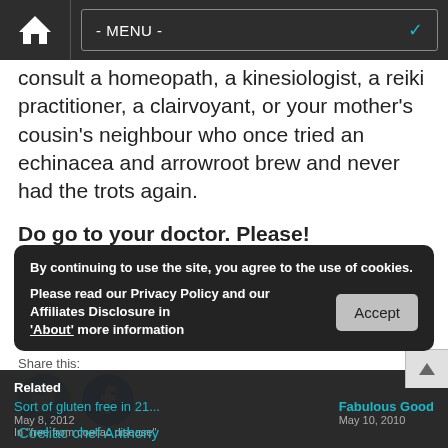- MENU -
consult a homeopath, a kinesiologist, a reiki practitioner, a clairvoyant, or your mother's cousin's neighbour who once tried an echinacea and arrowroot brew and never had the trots again.
Do go to your doctor. Please!
Share this:
[Figure (other): Twitter and Facebook social share circular icon buttons]
Related
By continuing to use the site, you agree to the use of cookies. Please read our Privacy Policy and our Affiliates Disclosure in 'About' more information
Sort of gluten free in 21... May 8, 2012 In "free from coeliac disease"
Fabulous Good May 10, 2010
Coeliac chef Anthony